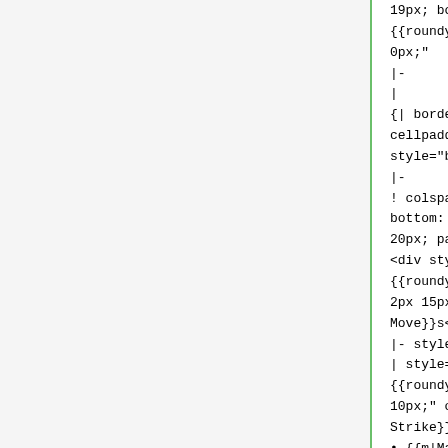19px; border: 3px solid #88a;
{{roundy|20px}} padding:
0px;"
|-
|
{| border="0" cellspacing="0"
cellpadding="0"
style="background: #f9f9f9;"
|-
! colspan="2" style="padding-
bottom: 1px; padding-left:
20px; padding-right: 20px;" |
<div style="background: #ccf;
{{roundytop|15px}} padding:
2px 15px;">{{red link|Max
Move}}s</div>
|- style="font-size: 90%;"
| style="background: #e6e6ff;
{{roundy}} padding: 2px
10px;" colspan=4 | {{m|Max
Strike}} • {{m|Max Knuckle}}
• {{m|Max Airstream}} •
{{m|Max Ooze}} • {{m|Max
Quake}} • {{m|Max Flutterby}}
• {{m|Max Rockfall}} •
{{m|Max Phantasm}} • {{m|Max
Steelspike}} • {{m|Max
Flare}} • {{m|Max Geyser}} •
{{m|Max Overgrowth}} •
{{m|Max Lightning}} • {{m|Max
Mindstorm}} • {{m|Max
Hailstorm}} • {{m|Max
Whirlwind}} • {{m|Max